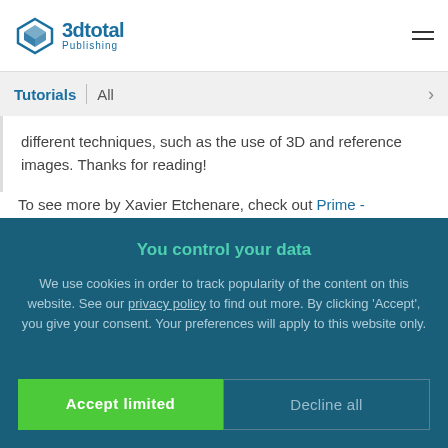3dtotal Publishing
Tutorials | All
different techniques, such as the use of 3D and reference images. Thanks for reading!
To see more by Xavier Etchenare, check out Prime -
You control your data
We use cookies in order to track popularity of the content on this website. See our privacy policy to find out more. By clicking 'Accept', you give your consent. Your preferences will apply to this website only.
Accept limited
Decline all